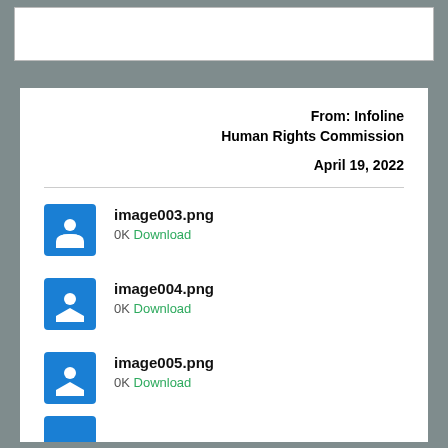From: Infoline Human Rights Commission
April 19, 2022
image003.png
0K Download
image004.png
0K Download
image005.png
0K Download